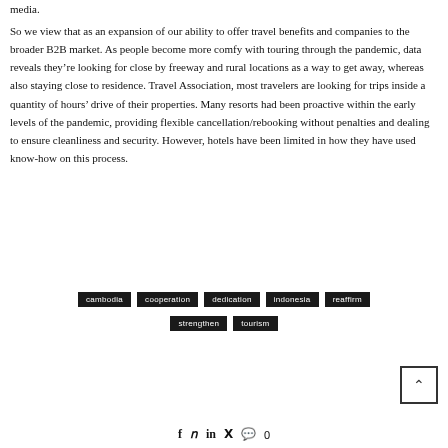media.
So we view that as an expansion of our ability to offer travel benefits and companies to the broader B2B market. As people become more comfy with touring through the pandemic, data reveals they’re looking for close by freeway and rural locations as a way to get away, whereas also staying close to residence. Travel Association, most travelers are looking for trips inside a quantity of hours’ drive of their properties. Many resorts had been proactive within the early levels of the pandemic, providing flexible cancellation/rebooking without penalties and dealing to ensure cleanliness and security. However, hotels have been limited in how they have used know-how on this process.
cambodia
cooperation
dedication
indonesia
reaffirm
strengthen
tourism
[Figure (other): Back to top arrow button (caret up in a square border)]
f  t  in  P  💬 0